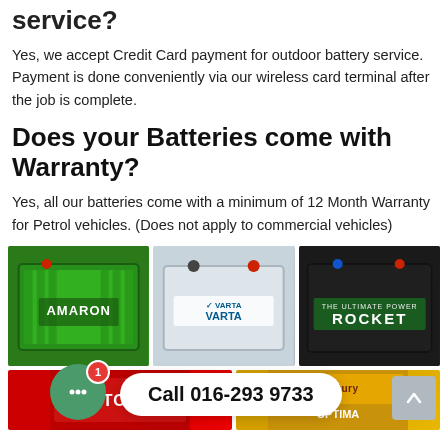service?
Yes, we accept Credit Card payment for outdoor battery service. Payment is done conveniently via our wireless card terminal after the job is complete.
Does your Batteries come with Warranty?
Yes, all our batteries come with a minimum of 12 Month Warranty for Petrol vehicles. (Does not apply to commercial vehicles)
[Figure (photo): Three car battery product photos side by side: Amaron (green), Varta (white/silver), Rocket (black)]
[Figure (photo): Two car battery product photos side by side: Motolite (red) and Century/Optima (yellow), partially visible]
Call 016-293 9733